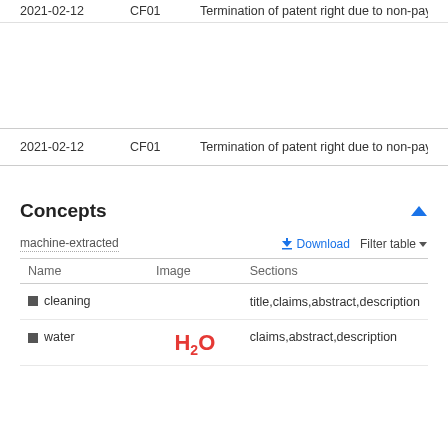|  |  |  |
| --- | --- | --- |
| 2021-02-12 | CF01 | Termination of patent right due to non-payme... |
|  |  |  |
| 2021-02-12 | CF01 | Termination of patent right due to non-payme... |
Concepts
machine-extracted
| Name | Image | Sections |
| --- | --- | --- |
| cleaning |  | title,claims,abstract,description |
| water | H2O | claims,abstract,description |